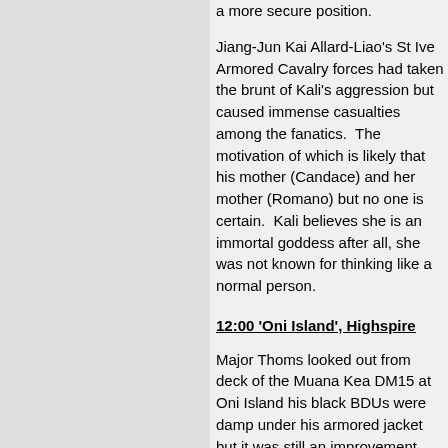a more secure position.
Jiang-Jun Kai Allard-Liao's St Ive Armored Cavalry forces had taken the brunt of Kali's aggression but caused immense casualties among the fanatics. The motivation of which is likely that his mother (Candace) and her mother (Romano) but no one is certain. Kali believes she is an immortal goddess after all, she was not known for thinking like a normal person.
12:00 'Oni Island', Highspire
Major Thoms looked out from deck of the Muana Kea DM15 at Oni Island his black BDUs were damp under his armored jacket but it was still an improvement from when he arrived. Through the mist he could see that the extinct volcano was a fortress jus